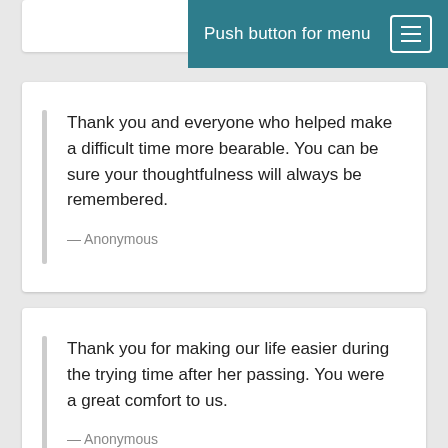Push button for menu
Thank you and everyone who helped make a difficult time more bearable. You can be sure your thoughtfulness will always be remembered.
— Anonymous
Thank you for making our life easier during the trying time after her passing. You were a great comfort to us.
— Anonymous